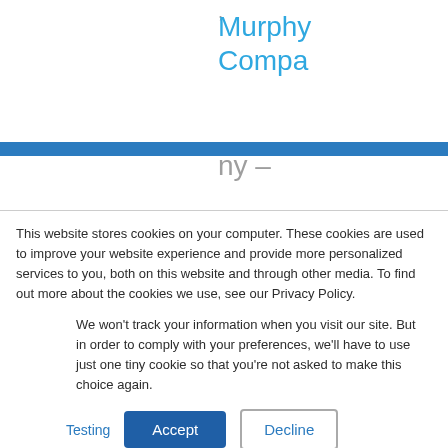Murphy Company – have adopted and rely heavily
This website stores cookies on your computer. These cookies are used to improve your website experience and provide more personalized services to you, both on this website and through other media. To find out more about the cookies we use, see our Privacy Policy.
We won't track your information when you visit our site. But in order to comply with your preferences, we'll have to use just one tiny cookie so that you're not asked to make this choice again.
Testing  Accept  Decline